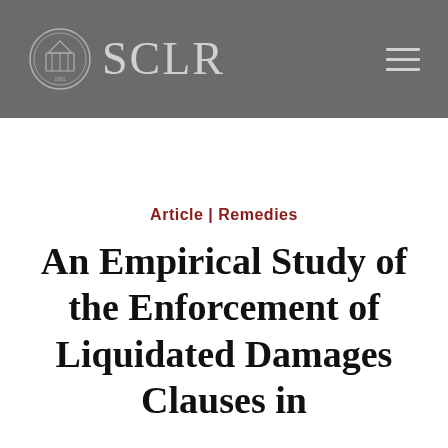SCLR
Article | Remedies
An Empirical Study of the Enforcement of Liquidated Damages Clauses in